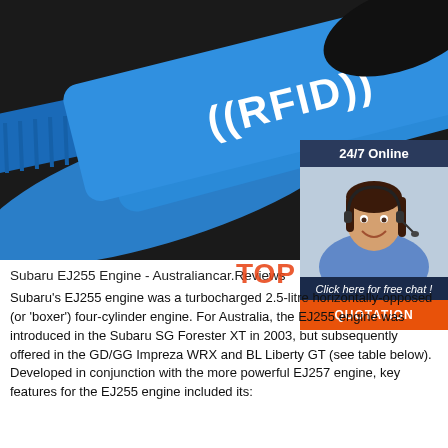[Figure (photo): Blue RFID wristband/card with ((RFID)) text on it, close-up product photo on dark background]
[Figure (infographic): 24/7 Online chat widget showing a smiling customer service representative wearing a headset, with 'Click here for free chat!' text and orange QUOTATION button]
Subaru EJ255 Engine - Australiancar.Reviews
Subaru's EJ255 engine was a turbocharged 2.5-litre horizontally-opposed (or 'boxer') four-cylinder engine. For Australia, the EJ255 engine was introduced in the Subaru SG Forester XT in 2003, but subsequently offered in the GD/GG Impreza WRX and BL Liberty GT (see table below). Developed in conjunction with the more powerful EJ257 engine, key features for the EJ255 engine included its: